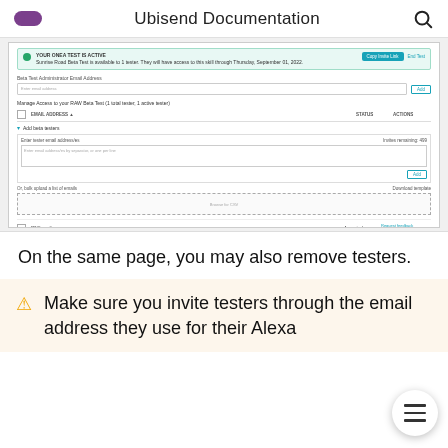Ubisend Documentation
[Figure (screenshot): Screenshot of a Beta Test management UI showing: a green success banner with 'Copy invite link' and 'End Test' buttons, a Beta Test Administrator Email Address field, a 'Manage Access to your RAW Beta Test' section with an email table showing one accepted tester (***@gmail.com) with Request feedback and Remove tester actions, an 'Add beta testers' expandable section with a textarea for email addresses and a CSV upload option, and pagination showing '1 - 1 of 1 Testers'.]
On the same page, you may also remove testers.
Make sure you invite testers through the email address they use for their Alexa